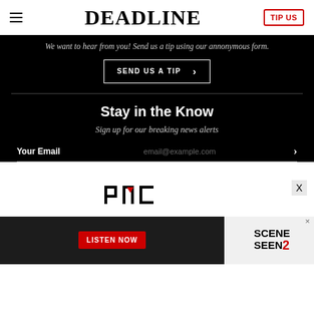DEADLINE | TIP US
We want to hear from you! Send us a tip using our annonymous form.
SEND US A TIP >
Stay in the Know
Sign up for our breaking news alerts
Your Email  email@example.com >
[Figure (logo): PMC logo in black text on white background]
[Figure (screenshot): Advertisement banner with LISTEN NOW button and SCENE SEEN 2 logo]